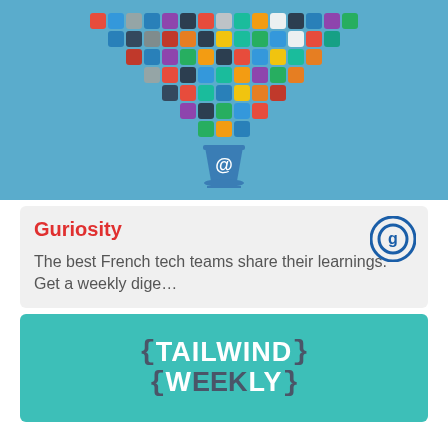[Figure (illustration): Blue background card showing a grid of colorful app icons arranged in a funnel/triangle shape pointing down into a blue coffee cup with a '@' symbol, representing newsletter aggregation.]
Guriosity
The best French tech teams share their learnings. Get a weekly dige…
[Figure (logo): Tailwind Weekly logo on teal/turquoise background showing '{TAILWIND}' and '{WEEKLY}' in large bold white and dark gray text with curly brace decorations.]